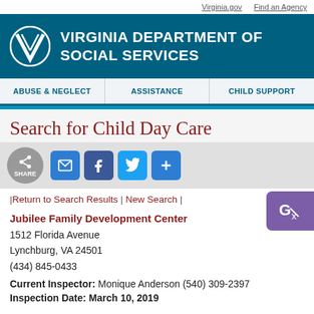Virginia.gov   Find an Agency
VIRGINIA DEPARTMENT OF SOCIAL SERVICES
ABUSE & NEGLECT | ASSISTANCE | CHILD SUPPORT
Search for Child Day Care
|Return to Search Results | New Search |
Jubilee Family Development Center
1512 Florida Avenue
Lynchburg, VA 24501
(434) 845-0433
Current Inspector: Monique Anderson (540) 309-2397
Inspection Date: March 10, 2019